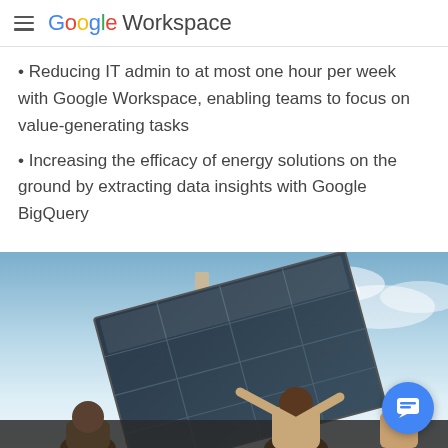Google Workspace
Reducing IT admin to at most one hour per week with Google Workspace, enabling teams to focus on value-generating tasks
Increasing the efficacy of energy solutions on the ground by extracting data insights with Google BigQuery
[Figure (photo): Workers installing or working on a solar panel structure against a blue sky background]